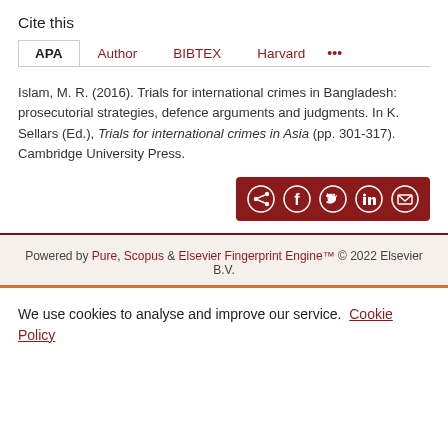Cite this
APA | Author | BIBTEX | Harvard | ...
Islam, M. R. (2016). Trials for international crimes in Bangladesh: prosecutorial strategies, defence arguments and judgments. In K. Sellars (Ed.), Trials for international crimes in Asia (pp. 301-317). Cambridge University Press.
[Figure (other): Share icons row: share, Facebook, Twitter, LinkedIn, Email on dark red background]
Powered by Pure, Scopus & Elsevier Fingerprint Engine™ © 2022 Elsevier B.V.
We use cookies to analyse and improve our service. Cookie Policy